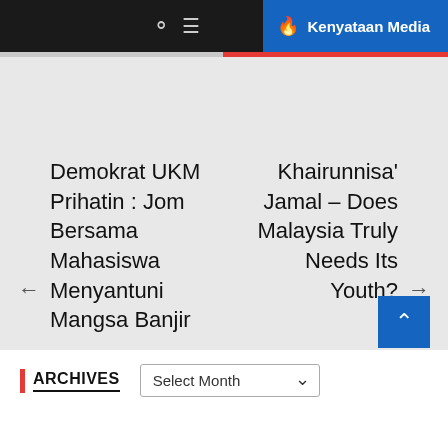Kenyataan Media
Demokrat UKM Prihatin : Jom Bersama Mahasiswa Menyantuni Mangsa Banjir
Khairunnisa' Jamal – Does Malaysia Truly Needs Its Youth?
ARCHIVES
Select Month